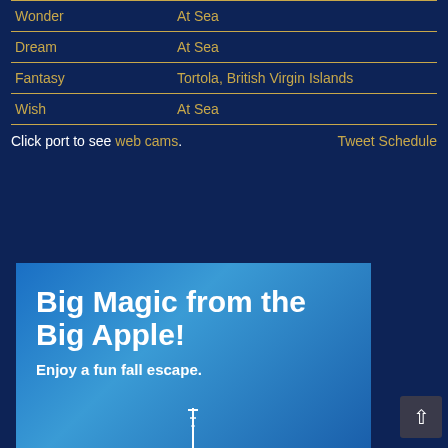| Ship | Location |
| --- | --- |
| Wonder | At Sea |
| Dream | At Sea |
| Fantasy | Tortola, British Virgin Islands |
| Wish | At Sea |
Click port to see web cams.     Tweet Schedule
[Figure (illustration): Advertisement banner with blue sky gradient background showing text 'Big Magic from the Big Apple!' and subtitle 'Enjoy a fun fall escape.' with a small spire/tower at the bottom]